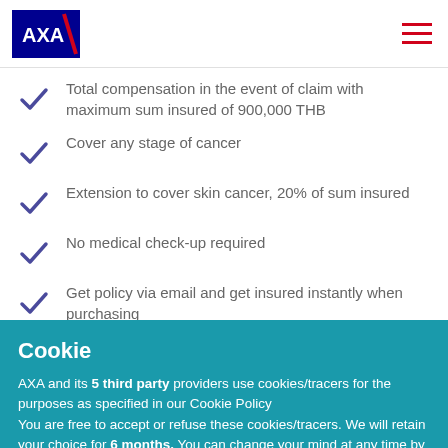AXA
Total compensation in the event of claim with maximum sum insured of 900,000 THB
Cover any stage of cancer
Extension to cover skin cancer, 20% of sum insured
No medical check-up required
Get policy via email and get insured instantly when purchasing
Cookie
AXA and its 5 third party providers use cookies/tracers for the purposes as specified in our Cookie Policy
You are free to accept or refuse these cookies/tracers. We will retain your choice for 6 months. You can change your mind at any time by clicking on the "Personalize my choices" link.
LIST OF THE THIRD PARTIES AND COOKIE POLICY
PERSONALIZE MY CHOICES   REJECT ALL   ACCEPT ALL